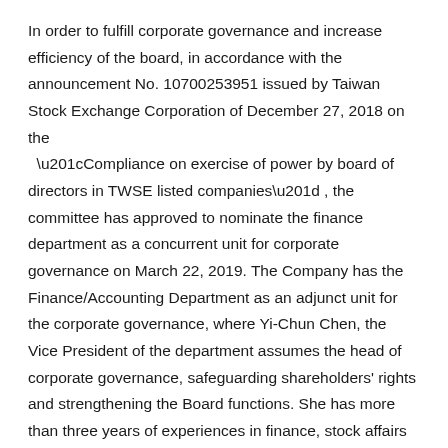In order to fulfill corporate governance and increase efficiency of the board, in accordance with the announcement No. 10700253951 issued by Taiwan Stock Exchange Corporation of December 27, 2018 on the “Compliance on exercise of power by board of directors in TWSE listed companies”, the committee has approved to nominate the finance department as a concurrent unit for corporate governance on March 22, 2019. The Company has the Finance/Accounting Department as an adjunct unit for the corporate governance, where Yi-Chun Chen, the Vice President of the department assumes the head of corporate governance, safeguarding shareholders' rights and strengthening the Board functions. She has more than three years of experiences in finance, stock affairs and relevant proceedings.